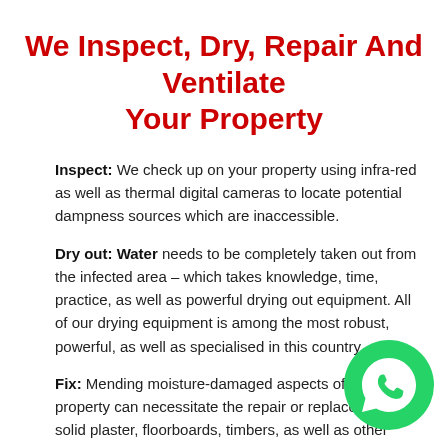We Inspect, Dry, Repair And Ventilate Your Property
Inspect: We check up on your property using infra-red as well as thermal digital cameras to locate potential dampness sources which are inaccessible.
Dry out: Water needs to be completely taken out from the infected area – which takes knowledge, time, practice, as well as powerful drying out equipment. All of our drying equipment is among the most robust, powerful, as well as specialised in this country.
Fix: Mending moisture-damaged aspects of the property can necessitate the repair or replacement of solid plaster, floorboards, timbers, as well as other permeable materials.
[Figure (logo): WhatsApp logo — green circle with white phone handset icon]